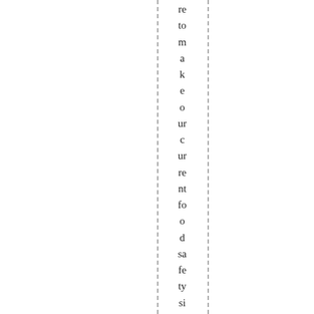re to m a k e o ur c ur re nt fo o d sa fe ty si tu at io n iff y at b